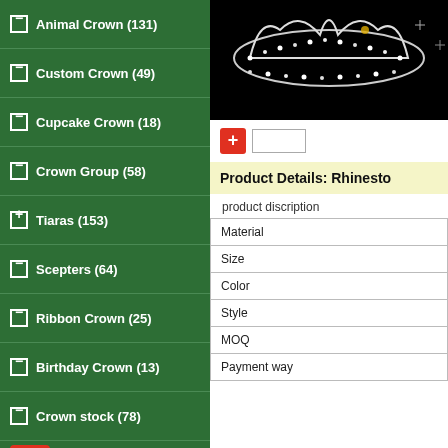− Animal Crown (131)
− Custom Crown (49)
− Cupcake Crown (18)
− Crown Group (58)
+ Tiaras (153)
− Scepters (64)
− Ribbon Crown (25)
− Birthday Crown (13)
− Crown stock (78)
+ ooch (13)
− Earring (36)
− Bracelet (11)
− Jewelry sets (20)
[Figure (photo): Photo of a rhinestone crown/tiara on a black background with sparkle effects]
+ [quantity input]
Product Details:  Rhinesto
product discription
| Material |
| Size |
| Color |
| Style |
| MOQ |
| Payment way |